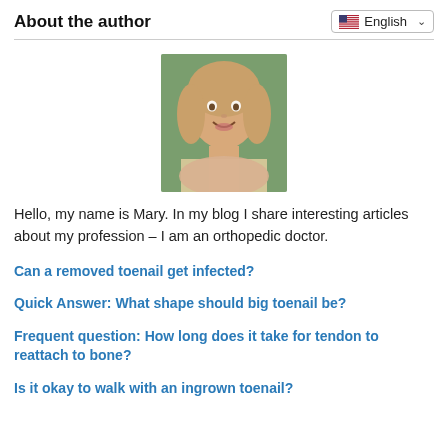About the author
[Figure (photo): Portrait photo of a smiling middle-aged woman with wavy blonde hair, outdoors with green background]
Hello, my name is Mary. In my blog I share interesting articles about my profession – I am an orthopedic doctor.
Can a removed toenail get infected?
Quick Answer: What shape should big toenail be?
Frequent question: How long does it take for tendon to reattach to bone?
Is it okay to walk with an ingrown toenail?